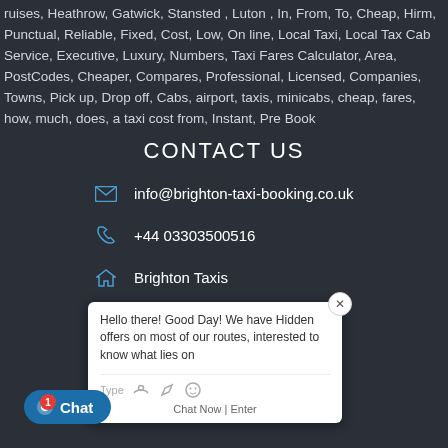ruises, Heathrow, Gatwick, Stansted , Luton , In, From, To, Cheap, Hirm, Punctual, Reliable, Fixed, Cost, Low, On line, Local Taxi, Local Taxi Cab Service, Executive, Luxury, Numbers, Taxi Fares Calculator, Area, PostCodes, Cheaper, Compares, Professional, Licensed, Companies, Towns, Pick up, Drop off, Cabs, airport, taxis, minicabs, cheap, fares, how, much, does, a taxi cost from, Instant, Pre Book
CONTACT US
info@brighton-taxi-booking.co.uk
+44 03303500516
Brighton Taxis
Brighton, UK
[Figure (screenshot): Chat popup window with text: Hello there! Good Day! We have Hidden offers on most of our routes, interested to know what lies on... with Type input field and icons at bottom. Also shows a chat button at bottom left with notification badge '1'.]